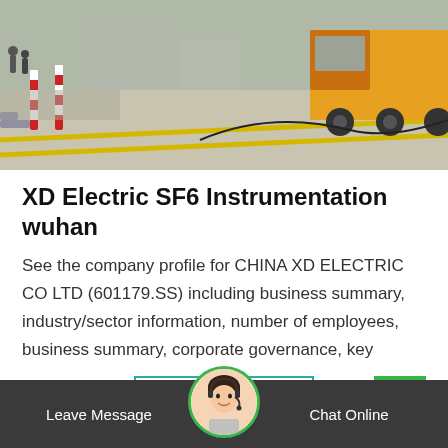[Figure (photo): Construction site with a large truck/trailer on a concrete road with yellow lane markings, workers and equipment visible in the background, red and white barriers on the left.]
XD Electric SF6 Instrumentation wuhan
See the company profile for CHINA XD ELECTRIC CO LTD (601179.SS) including business summary, industry/sector information, number of employees, business summary, corporate governance, key
Get Price
Leave Message
Chat Online